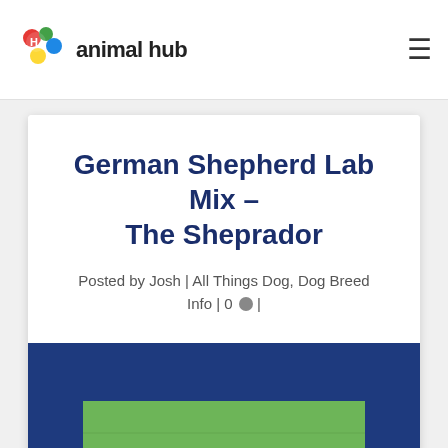animal hub
German Shepherd Lab Mix – The Sheprador
Posted by Josh | All Things Dog, Dog Breed Info | 0 |
[Figure (photo): Photo of a German Shepherd dog peeking up from green grass, with ears visible, set against a dark navy blue background banner]